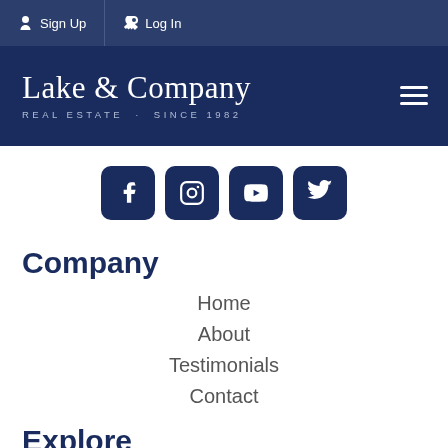Sign Up | Log In
[Figure (logo): Lake & Company Real Estate Since 1982 logo with hamburger menu]
[Figure (infographic): Social media icons: Facebook, Instagram, YouTube, Twitter]
Company
Home
About
Testimonials
Contact
Explore